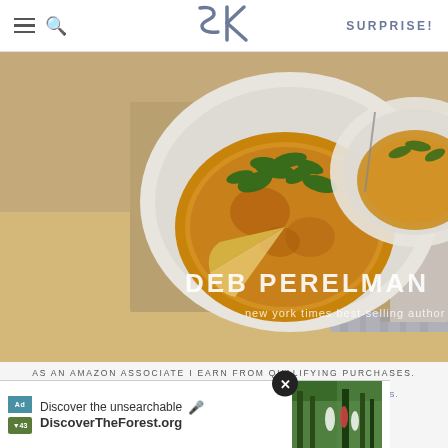SURPRISE!
[Figure (photo): Book cover featuring food photography of a golden frittata/tortilla on a white plate with arugula on top, by Deb Perelman, New York Times best-selling author. The book is shown in a 3D perspective with a spine visible.]
AS AN AMAZON ASSOCIATE I EARN FROM QUALIFYING PURCHASES.
©2009–2022 SMITTEN KITCHEN. PROUDLY POWERED BY WORDPRESS.
HOSTED BY PRESSABLE
[Figure (screenshot): Advertisement banner for DiscoverTheForest.org with text 'Discover the unsearchable' and photo of people hiking in forest. Contains Ad label icons, microphone icon, and a close (X) button.]